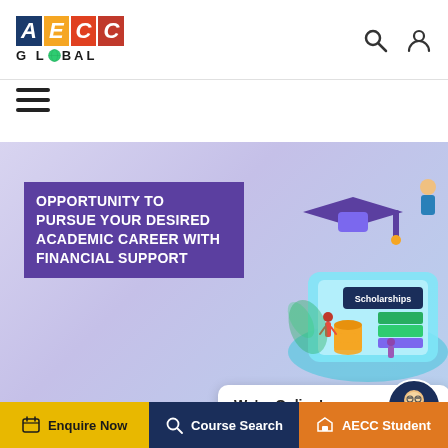[Figure (logo): AECC Global logo with colored letter blocks and globe icon]
[Figure (illustration): Hamburger menu icon (three horizontal lines)]
[Figure (illustration): Scholarship promotional banner with purple background, graduation cap, books, coins, and student figures. Text: OPPORTUNITY TO PURSUE YOUR DESIRED ACADEMIC CAREER WITH FINANCIAL SUPPORT. Scholarships label on right.]
Scholarships for Intern
We're Online!
How may I help you today?
[Figure (illustration): Chat bot avatar - circular icon with cartoon character]
[Figure (illustration): Bottom navigation bar with Enquire Now (yellow), Course Search (navy), AECC Student (orange) buttons]